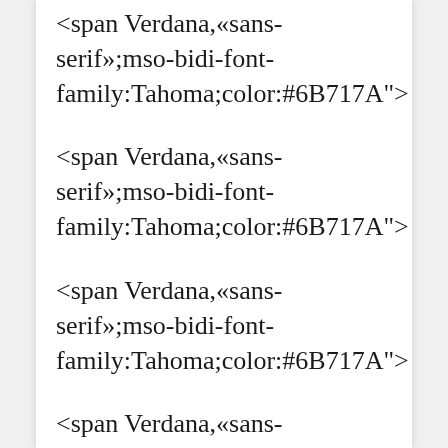<span Verdana,«sans-serif»;mso-bidi-font-family:Tahoma;color:#6B717A">
<span Verdana,«sans-serif»;mso-bidi-font-family:Tahoma;color:#6B717A">
<span Verdana,«sans-serif»;mso-bidi-font-family:Tahoma;color:#6B717A">
<span Verdana,«sans-serif»;mso-bidi-font-family:Tahoma;color:#6B717A">
<span Verdana,«sans-serif»;mso-bidi-font-family:Tahoma;color:#6B717A">